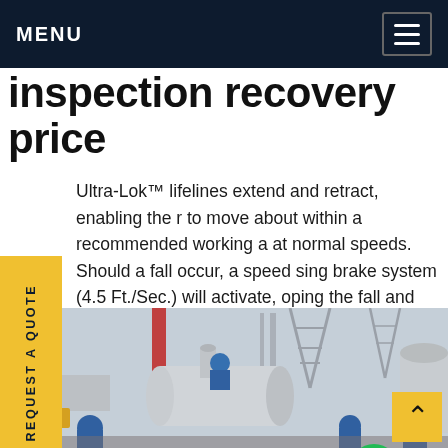MENU
inspection recovery price
Ultra-Lok™ lifelines extend and retract, enabling the r to move about within a recommended working a at normal speeds. Should a fall occur, a speed sing brake system (4.5 Ft./Sec.) will activate, oping the fall and reducing the forces imposed user to 900 Lbs. or less. WEB SRL.Get price
REQUEST A QUOTE
[Figure (photo): Industrial site with workers in blue hard hats and coveralls around large metal pipes and tanks, transmission towers visible in background]